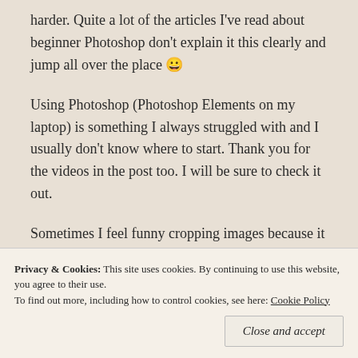harder. Quite a lot of the articles I've read about beginner Photoshop don't explain it this clearly and jump all over the place 😀
Using Photoshop (Photoshop Elements on my laptop) is something I always struggled with and I usually don't know where to start. Thank you for the videos in the post too. I will be sure to check it out.
Sometimes I feel funny cropping images because it reminds me of how I could have take the shot better in real life. Then again, we are not perfect and there is only so much we can
Privacy & Cookies:  This site uses cookies. By continuing to use this website, you agree to their use.
To find out more, including how to control cookies, see here: Cookie Policy
Close and accept